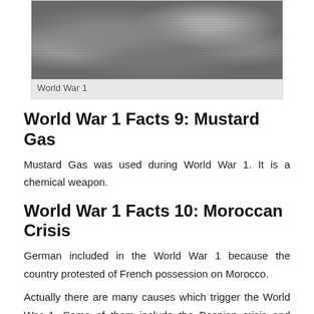[Figure (photo): Black and white photograph of World War 1 soldiers in a field with brush and debris]
World War 1
World War 1 Facts 9: Mustard Gas
Mustard Gas was used during World War 1. It is a chemical weapon.
World War 1 Facts 10: Moroccan Crisis
German included in the World War 1 because the country protested of French possession on Morocco.
Actually there are many causes which trigger the World War 1. Some of them include the Bosnian crisis and conflict among the countries in Europe.
[Figure (photo): Black and white photograph partially visible at bottom of page]